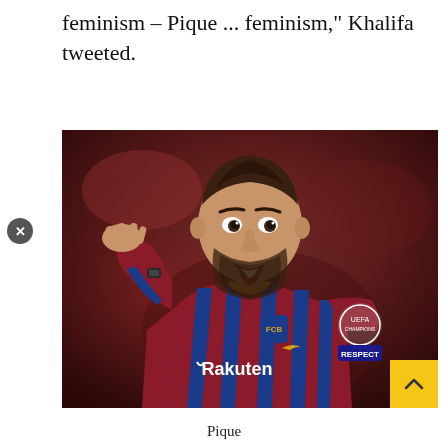feminism – Pique ... feminism," Khalifa tweeted.
[Figure (photo): Gerard Pique in FC Barcelona red and blue striped jersey with Rakuten sponsor, hand raised to head, mouth open, UEFA Champions League badge visible on sleeve, RESPECT badge visible, blurred red background]
Pique